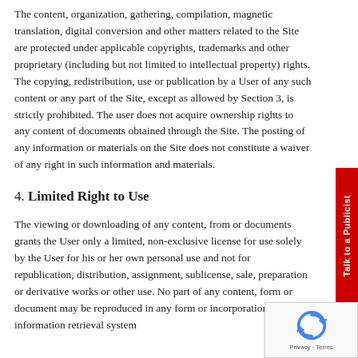The content, organization, gathering, compilation, magnetic translation, digital conversion and other matters related to the Site are protected under applicable copyrights, trademarks and other proprietary (including but not limited to intellectual property) rights. The copying, redistribution, use or publication by a User of any such content or any part of the Site, except as allowed by Section 3, is strictly prohibited. The user does not acquire ownership rights to any content of documents obtained through the Site. The posting of any information or materials on the Site does not constitute a waiver of any right in such information and materials.
4. Limited Right to Use
The viewing or downloading of any content, from or documents grants the User only a limited, non-exclusive license for use solely by the User for his or her own personal use and not for republication, distribution, assignment, sublicense, sale, preparation or derivative works or other use. No part of any content, form or document may be reproduced in any form or incorporation into any information retrieval system...